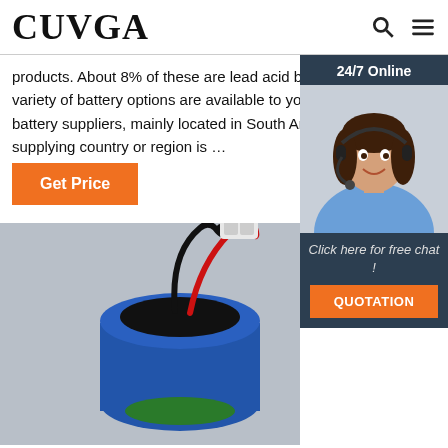CUVGA
products. About 8% of these are lead acid batteries. A wide variety of battery options are available to you, There are 62 battery suppliers, mainly located in South America. The supplying country or region is …
Get Price
[Figure (photo): Customer service agent (woman with headset) with '24/7 Online' header, 'Click here for free chat!' text, and orange QUOTATION button on dark navy background sidebar widget]
[Figure (photo): Close-up photo of a lithium battery cell (blue cylindrical battery) with black and red wires and a white connector, on grey background]